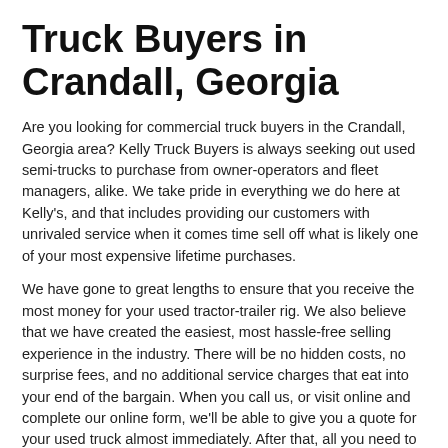Truck Buyers in Crandall, Georgia
Are you looking for commercial truck buyers in the Crandall, Georgia area? Kelly Truck Buyers is always seeking out used semi-trucks to purchase from owner-operators and fleet managers, alike. We take pride in everything we do here at Kelly's, and that includes providing our customers with unrivaled service when it comes time sell off what is likely one of your most expensive lifetime purchases.
We have gone to great lengths to ensure that you receive the most money for your used tractor-trailer rig. We also believe that we have created the easiest, most hassle-free selling experience in the industry. There will be no hidden costs, no surprise fees, and no additional service charges that eat into your end of the bargain. When you call us, or visit online and complete our online form, we'll be able to give you a quote for your used truck almost immediately. After that, all you need to provide us with is a time and place to collect your vehicle and pay you. It's as simple as that!
Once we have your trucks information all you have to do is sit back